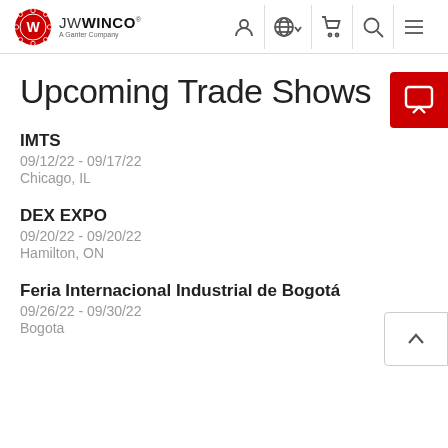JW WINCO — A Ganter Company (navigation header with account, globe, cart, search, and menu icons)
Upcoming Trade Shows
IMTS
09/12/22 - 09/17/22
Chicago, IL
DEX EXPO
09/20/22 - 09/20/22
Hamilton, ON
Feria Internacional Industrial de Bogotá
09/26/22 - 09/30/22
Bogota